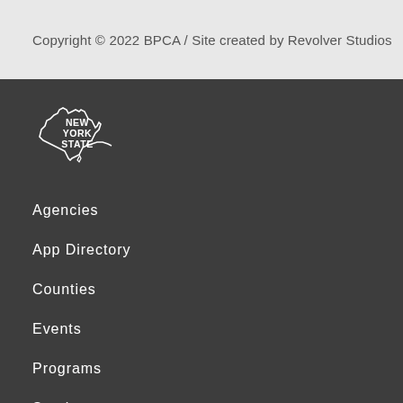Copyright © 2022 BPCA / Site created by Revolver Studios
[Figure (logo): New York State logo — outline of NY state shape with text NEW YORK STATE in white on dark background]
Agencies
App Directory
Counties
Events
Programs
Services